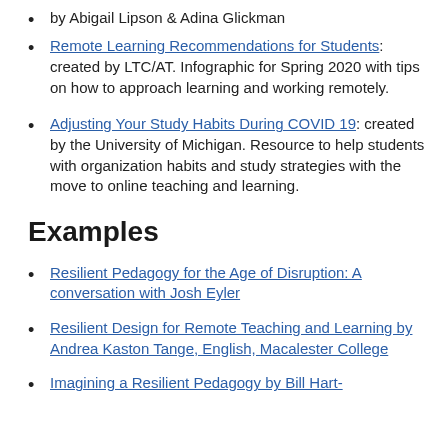by Abigail Lipson & Adina Glickman
Remote Learning Recommendations for Students: created by LTC/AT. Infographic for Spring 2020 with tips on how to approach learning and working remotely.
Adjusting Your Study Habits During COVID 19: created by the University of Michigan. Resource to help students with organization habits and study strategies with the move to online teaching and learning.
Examples
Resilient Pedagogy for the Age of Disruption: A conversation with Josh Eyler
Resilient Design for Remote Teaching and Learning by Andrea Kaston Tange, English, Macalester College
Imagining a Resilient Pedagogy by Bill Hart-